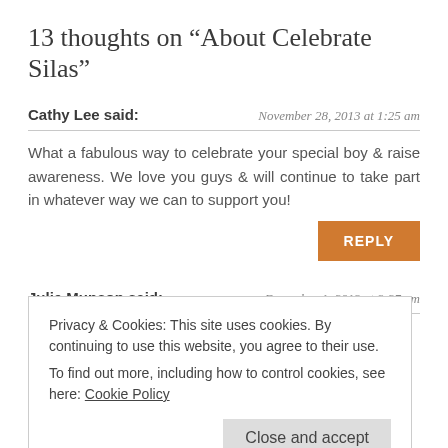13 thoughts on “About Celebrate Silas”
Cathy Lee said:
November 28, 2013 at 1:25 am
What a fabulous way to celebrate your special boy & raise awareness. We love you guys & will continue to take part in whatever way we can to support you!
Julie Munson said:
December 1, 2013 at 8:27 pm
I love this and we will be honored to participate.
Privacy & Cookies: This site uses cookies. By continuing to use this website, you agree to their use.
To find out more, including how to control cookies, see here: Cookie Policy
shirts at sign up. Hope it works to let you know here that I